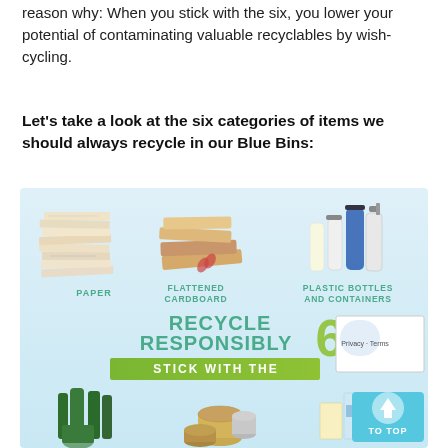reason why: When you stick with the six, you lower your potential of contaminating valuable recyclables by wish-cycling.
Let's take a look at the six categories of items we should always recycle in our Blue Bins:
[Figure (infographic): Recycling infographic on a light blue background showing six categories: Paper (stack of newspapers), Flattened Cardboard (cardboard pieces), Plastic Bottles and Containers (plastic bottles and spray bottles), Glass Bottles and Jars (green glass bottles), Cans (metal cans and tins), Cartons (juice boxes and cartons). Center text reads 'RECYCLE RESPONSIBLY 6 STICK WITH THE' with a large green number 6. Also shows a reCAPTCHA widget and a 'TO TOP' button overlay.]